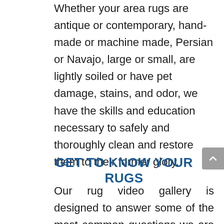Whether your area rugs are antique or contemporary, hand-made or machine made, Persian or Navajo, large or small, are lightly soiled or have pet damage, stains, and odor, we have the skills and education necessary to safely and thoroughly clean and restore them to their former glory.
GET TO KNOW YOUR RUGS
Our rug video gallery is designed to answer some of the most common questions we are asked every day. From